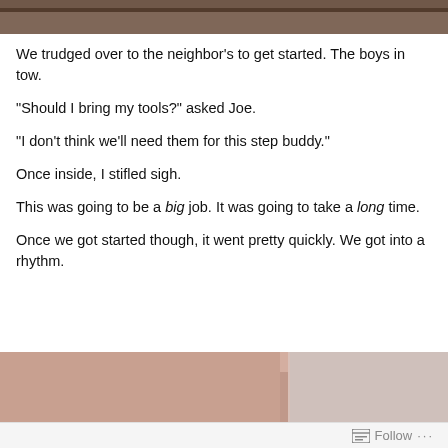[Figure (photo): Top portion of a photo showing a reddish-brown brick or paving surface, partially cropped at the top of the page.]
We trudged over to the neighbor's to get started. The boys in tow.
“Should I bring my tools?” asked Joe.
“I don’t think we’ll need them for this step buddy.”
Once inside, I stifled sigh.
This was going to be a big job. It was going to take a long time.
Once we got started though, it went pretty quickly. We got into a rhythm.
[Figure (photo): Bottom portion of a photo showing reddish-pink brick or paving surface with a person partially visible.]
Follow